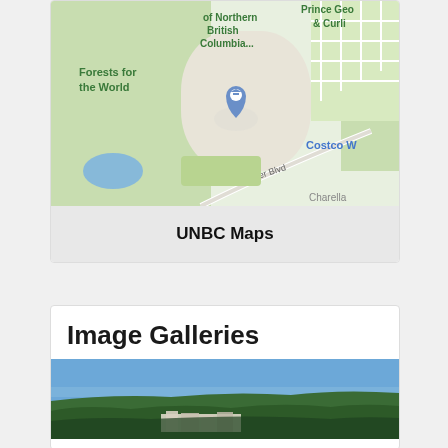[Figure (map): Google Maps screenshot showing University of Northern British Columbia campus area, with labels for 'Forests for the World', 'of Northern British Columbia...', 'Prince George & Curli', 'Tyner Blvd', 'Costco W', 'Charella', and a map pin indicating the university location.]
UNBC Maps
Image Galleries
[Figure (photo): Aerial photograph of a forested landscape with buildings visible in the middle ground and a clear blue sky above. Appears to be a campus or facility surrounded by dense coniferous forest.]